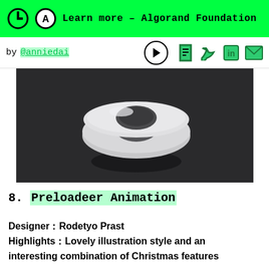Learn more – Algorand Foundation
by @anniedai
[Figure (photo): 3D rendered white donut/ring shaped object on dark background]
8. Preloadeer Animation
Designer：Rodetyo Prast
Highlights：Lovely illustration style and an interesting combination of Christmas features